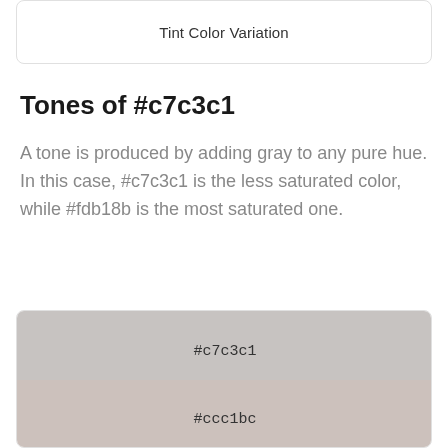Tint Color Variation
Tones of #c7c3c1
A tone is produced by adding gray to any pure hue. In this case, #c7c3c1 is the less saturated color, while #fdb18b is the most saturated one.
[Figure (illustration): Color swatches showing #c7c3c1 and #ccc1bc tones stacked vertically on a gray-beige background]